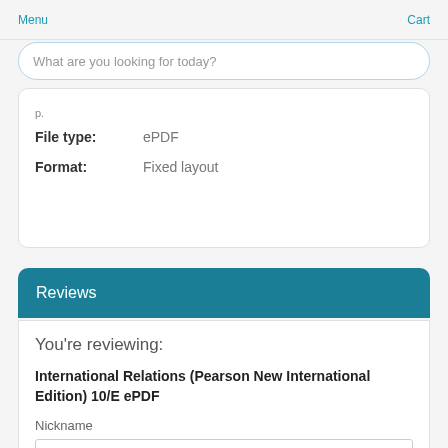Menu   Cart
What are you looking for today?
File type:   ePDF
Format:   Fixed layout
Reviews
You're reviewing:
International Relations (Pearson New International Edition) 10/E ePDF
Nickname